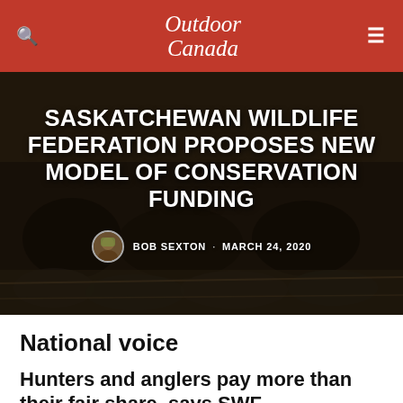Outdoor Canada
[Figure (photo): Hunters crouching in a field with harvested waterfowl (geese/ducks) laid out in front of them, dark moody outdoor scene]
SASKATCHEWAN WILDLIFE FEDERATION PROPOSES NEW MODEL OF CONSERVATION FUNDING
BOB SEXTON · MARCH 24, 2020
National voice
Hunters and anglers pay more than their fair share, says SWF